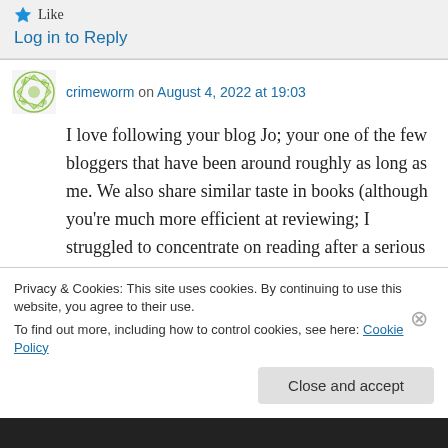Like
Log in to Reply
crimeworm on August 4, 2022 at 19:03
I love following your blog Jo; your one of the few bloggers that have been around roughly as long as me. We also share similar taste in books (although you're much more efficient at reviewing; I struggled to concentrate on reading after a serious head injury.) Also, I'm now a
Privacy & Cookies: This site uses cookies. By continuing to use this website, you agree to their use.
To find out more, including how to control cookies, see here: Cookie Policy
Close and accept